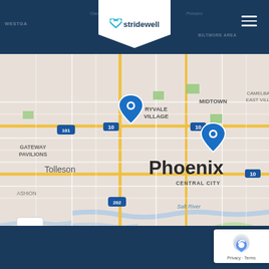[Figure (logo): Stridewell logo in white shield shape with teal heart/loop icon]
[Figure (map): Google My Maps showing Phoenix, AZ area with two blue location pins — one near Ryvale Village and one near Midtown Phoenix. Shows areas: Tolleson, Gateway Pavilions, Central City, Laveen Village, South Mountain Village, Salt River, South Mountain Park. Includes zoom controls (+/-), scale bar (2 mi), Terms link.]
[Figure (other): reCAPTCHA badge with blue robot icon and Privacy/Terms links]